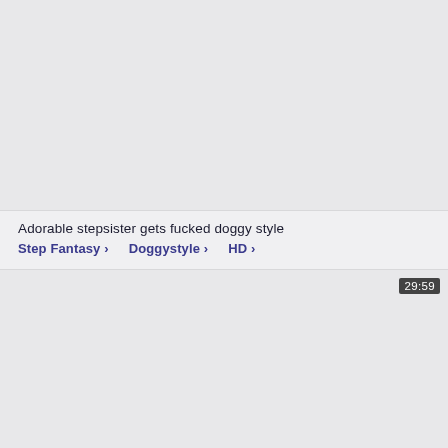Adorable stepsister gets fucked doggy style
Step Fantasy › Doggystyle › HD ›
29:59